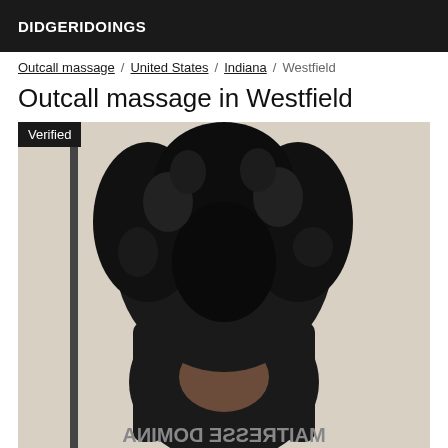DIDGERIDOINGS
Outcall massage / United States / Indiana / Westfield
Outcall massage in Westfield
[Figure (photo): A person with curly dark hair wearing a black latex outfit, face obscured. A mirrored text watermark reading MAITRESSE DOMINA appears at the bottom of the image. A 'Verified' badge overlays the top-left corner.]